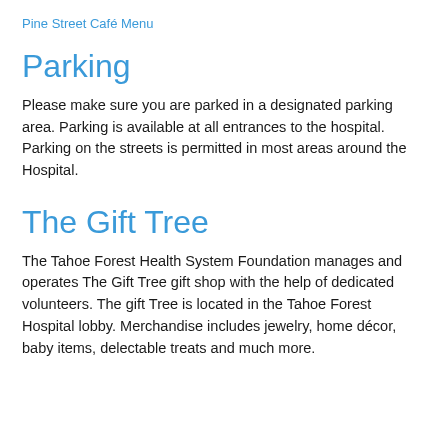Pine Street Café Menu
Parking
Please make sure you are parked in a designated parking area. Parking is available at all entrances to the hospital. Parking on the streets is permitted in most areas around the Hospital.
The Gift Tree
The Tahoe Forest Health System Foundation manages and operates The Gift Tree gift shop with the help of dedicated volunteers. The gift Tree is located in the Tahoe Forest Hospital lobby. Merchandise includes jewelry, home décor, baby items, delectable treats and much more.